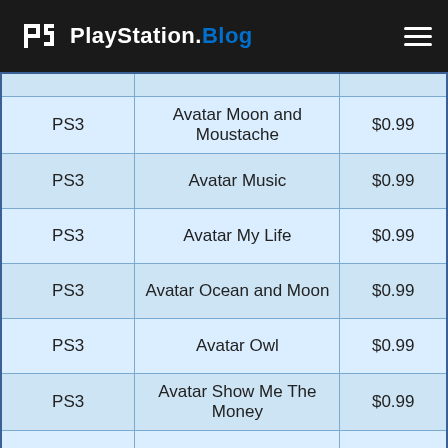PlayStation.Blog
| Platform | Name | Price |
| --- | --- | --- |
| PS3 | Avatar Moon and Moustache | $0.99 |
| PS3 | Avatar Music | $0.99 |
| PS3 | Avatar My Life | $0.99 |
| PS3 | Avatar Ocean and Moon | $0.99 |
| PS3 | Avatar Owl | $0.99 |
| PS3 | Avatar Show Me The Money | $0.99 |
| PS3 | Avatar Stay Gaming | $0.99 |
| PS3 | Avatar Test | $0.99 |
| PS3 | Avatar Vacation | $0.99 |
| PS3 | Avatar Video... | $0.99 |